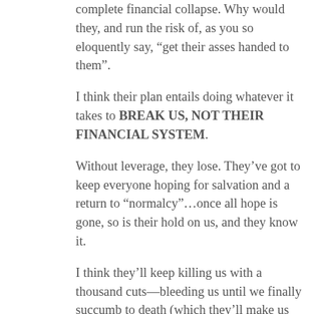complete financial collapse. Why would they, and run the risk of, as you so eloquently say, “get their asses handed to them”.
I think their plan entails doing whatever it takes to BREAK US, NOT THEIR FINANCIAL SYSTEM.
Without leverage, they lose. They’ve got to keep everyone hoping for salvation and a return to “normalcy”…once all hope is gone, so is their hold on us, and they know it.
I think they’ll keep killing us with a thousand cuts—bleeding us until we finally succumb to death (which they’ll make us pay for too).
It’s up to us to decide when...